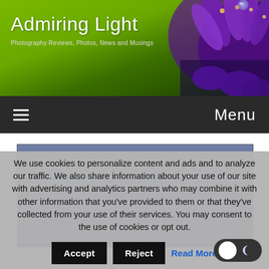[Figure (photo): Website header banner for Admiring Light photography blog, showing green gradient background with purple lavender flower close-up on the right side]
Admiring Light
Photography Reviews, Photos, News and Musings
Menu
[Figure (photo): Landscape photograph with blue-purple gradient sky, dark at bottom transitioning to lighter blue at top]
We use cookies to personalize content and ads and to analyze our traffic. We also share information about your use of our site with advertising and analytics partners who may combine it with other information that you've provided to them or that they've collected from your use of their services. You may consent to the use of cookies or opt out.